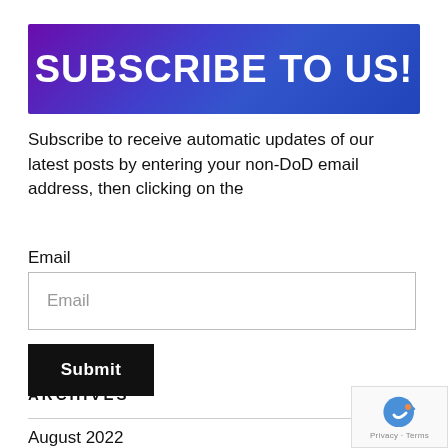[Figure (other): Blue-purple gradient banner with bold white text reading SUBSCRIBE TO US!]
Subscribe to receive automatic updates of our latest posts by entering your non-DoD email address, then clicking on the
Email
Email (input field placeholder)
Submit (button)
ARCHIVES
August 2022